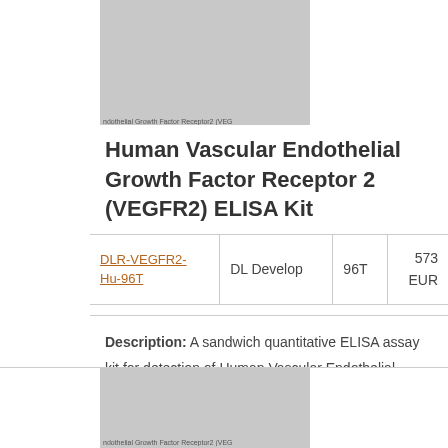[Figure (photo): Partial product image of Human Vascular Endothelial Growth Factor Receptor 2 (VEGFR2) at top of page]
Human Vascular Endothelial Growth Factor Receptor 2 (VEGFR2) ELISA Kit
|  |  |  |  |
| --- | --- | --- | --- |
| DLR-VEGFR2-Hu-96T | DL Develop | 96T | 573 EUR |
Description: A sandwich quantitative ELISA assay kit for detection of Human Vascular Endothelial Growth Factor Receptor 2 (VEGFR2) in samples from serum, plasma, tissue homogenates or other biological fluids.
[Figure (photo): Partial product image of Human Vascular Endothelial Growth Factor Receptor 2 (VEGFR2) at bottom of page]